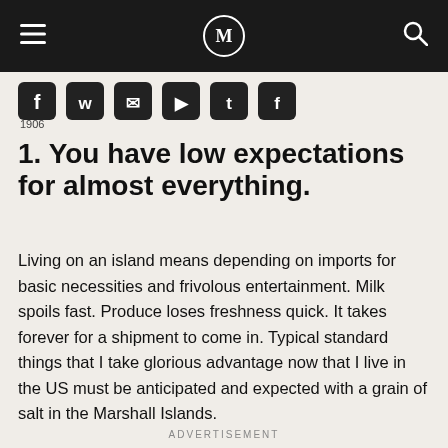M (logo)
[Figure (other): Social sharing icons bar: Facebook, WhatsApp, Email, Pocket, Twitter, and another icon]
1906
1. You have low expectations for almost everything.
Living on an island means depending on imports for basic necessities and frivolous entertainment. Milk spoils fast. Produce loses freshness quick. It takes forever for a shipment to come in. Typical standard things that I take glorious advantage now that I live in the US must be anticipated and expected with a grain of salt in the Marshall Islands.
ADVERTISEMENT